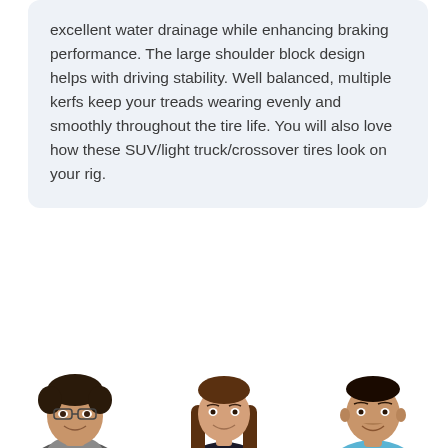excellent water drainage while enhancing braking performance. The large shoulder block design helps with driving stability. Well balanced, multiple kerfs keep your treads wearing evenly and smoothly throughout the tire life. You will also love how these SUV/light truck/crossover tires look on your rig.
Review this product
[Figure (photo): Three people (two men and one woman) photographed from the shoulders up against a white background, arranged side by side.]